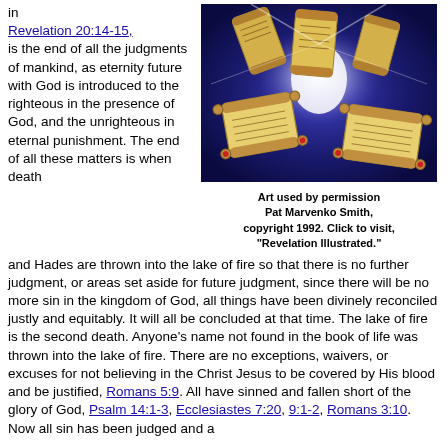in Revelation 20:14-15, is the end of all the judgments of mankind, as eternity future with God is introduced to the righteous in the presence of God, and the unrighteous in eternal punishment. The end of all these matters is when death
[Figure (illustration): Illustration of glowing golden scrolls floating against a dark blue/purple cosmic background with bright white light]
Art used by permission Pat Marvenko Smith, copyright 1992. Click to visit, "Revelation Illustrated."
and Hades are thrown into the lake of fire so that there is no further judgment, or areas set aside for future judgment, since there will be no more sin in the kingdom of God, all things have been divinely reconciled justly and equitably. It will all be concluded at that time. The lake of fire is the second death. Anyone's name not found in the book of life was thrown into the lake of fire. There are no exceptions, waivers, or excuses for not believing in the Christ Jesus to be covered by His blood and be justified, Romans 5:9. All have sinned and fallen short of the glory of God, Psalm 14:1-3, Ecclesiastes 7:20, 9:1-2, Romans 3:10. Now all sin has been judged and a